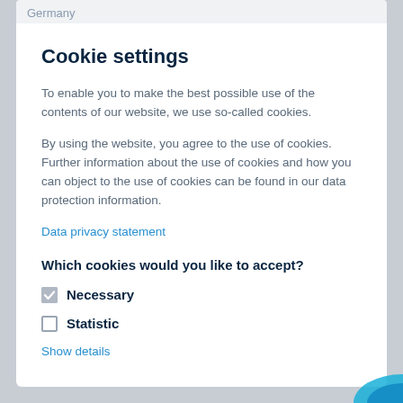Germany
Cookie settings
To enable you to make the best possible use of the contents of our website, we use so-called cookies.
By using the website, you agree to the use of cookies. Further information about the use of cookies and how you can object to the use of cookies can be found in our data protection information.
Data privacy statement
Which cookies would you like to accept?
Necessary
Statistic
Show details